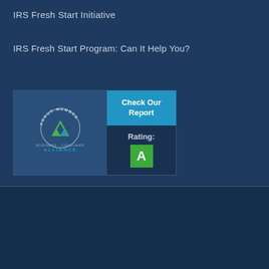IRS Fresh Start Initiative
IRS Fresh Start Program: Can It Help You?
[Figure (logo): Business Consumer Alliance Proud Member badge with Check Our Report button and Rating: A]
Copyright 2013 - 2020 OptimaTaxRelief, LLC | All Rights Reserved
Optima Tax Relief Website Disclaimer – As of May, 24 2017